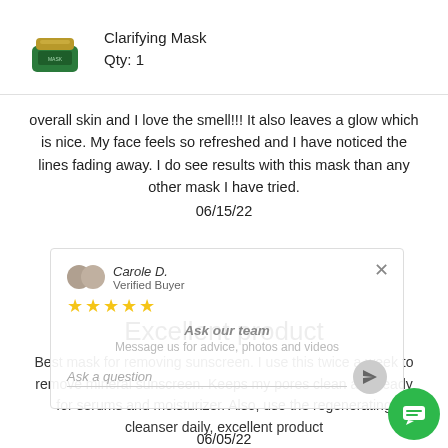[Figure (photo): Green skincare product jar thumbnail next to product name and quantity]
overall skin and I love the smell!!! It also leaves a glow which is nice. My face feels so refreshed and I have noticed the lines fading away. I do see results with this mask than any other mask I have tried.
06/15/22
[Figure (screenshot): Popup overlay showing reviewer Carole D., Verified Buyer, 5-star rating, with Ask our team CTA, message input, and send button]
Excellent product
Best mask for removing sunscreen. I use this twice a week to remove mineral sunscreen. Keeps my pores clean and ready for serums and moisturizer. Also, use the regenerating cleanser daily, excellent product
06/05/22
[Figure (illustration): Green circular chat/message button in bottom right corner]